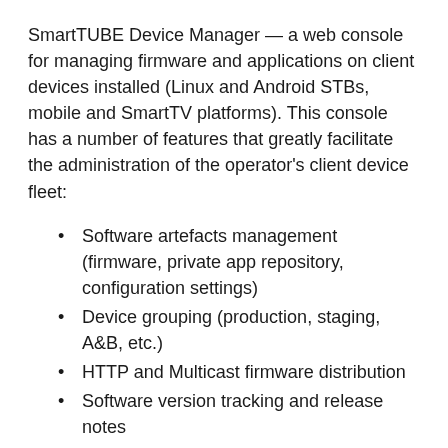SmartTUBE Device Manager — a web console for managing firmware and applications on client devices installed (Linux and Android STBs, mobile and SmartTV platforms). This console has a number of features that greatly facilitate the administration of the operator's client device fleet:
Software artefacts management (firmware, private app repository, configuration settings)
Device grouping (production, staging, A&B, etc.)
HTTP and Multicast firmware distribution
Software version tracking and release notes
Update strategies management (soft update, force update, minimal allowed version)
Configuring the Home screen of Client UI
The look and feel of the SmartTUBE Device Manager interface is similar to the consoles of other SmartLabs products. It is simple and allows you to evaluate at a